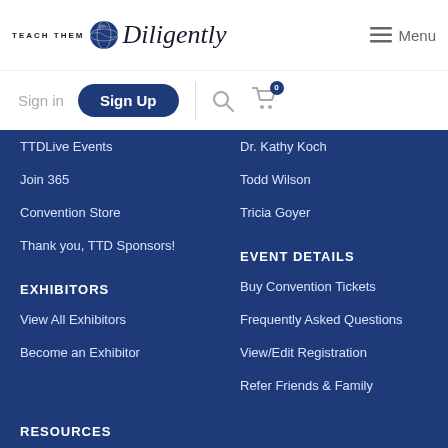[Figure (logo): Teach Them Diligently logo with globe icon and italic script text]
Sign in  Sign Up  Menu
TTDLive Events
Join 365
Convention Store
Thank you, TTD Sponsors!
Dr. Kathy Koch
Todd Wilson
Tricia Goyer
EXHIBITORS
View All Exhibitors
Become an Exhibitor
EVENT DETAILS
Buy Convention Tickets
Frequently Asked Questions
View/Edit Registration
Refer Friends & Family
Volunteer at TTD 2022
RESOURCES